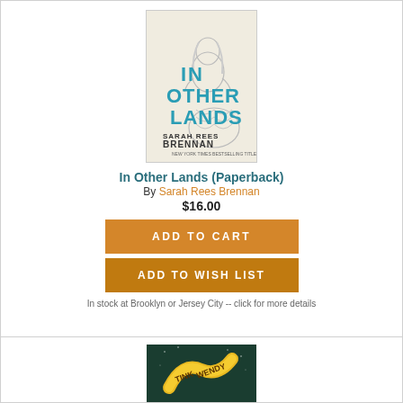[Figure (illustration): Book cover for 'In Other Lands' by Sarah Rees Brennan. Features a mermaid illustration with teal/blue decorative text on a light background.]
In Other Lands (Paperback)
By Sarah Rees Brennan
$16.00
ADD TO CART
ADD TO WISH LIST
In stock at Brooklyn or Jersey City -- click for more details
[Figure (illustration): Book cover partially visible at bottom, showing 'TINK WENDY' text with golden swirling design on dark background.]